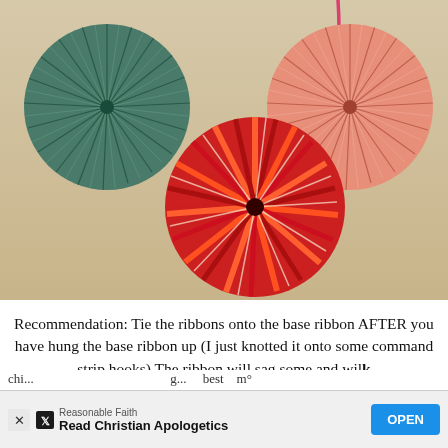[Figure (photo): Three decorative paper pinwheel fans hanging from a ribbon against a beige wall. Left: large dark teal/green fan. Center bottom: large red and orange striped fan. Right: large pink fan. A pink ribbon is visible at top right.]
Recommendation: Tie the ribbons onto the base ribbon AFTER you have hung the base ribbon up (I just knotted it onto some command strip hooks) The ribbon will sag some and will
chi... Reasonable Faith Read Christian Apologetics OPEN g... best m°